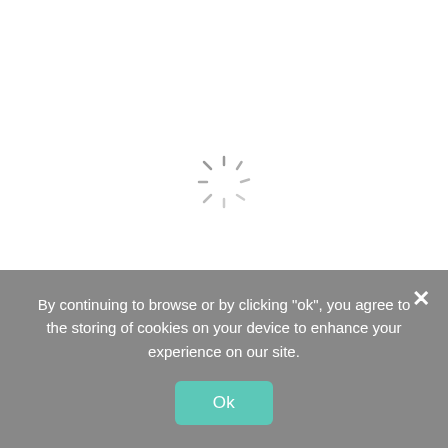[Figure (screenshot): A loading spinner (circular dashed/spoked spinner) centered on a white background area, indicating a page is loading.]
By continuing to browse or by clicking "ok", you agree to the storing of cookies on your device to enhance your experience on our site.